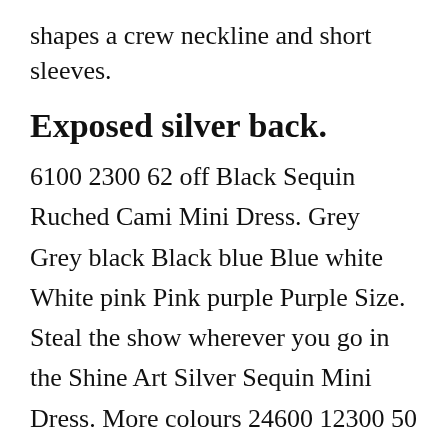shapes a crew neckline and short sleeves.
Exposed silver back.
6100 2300 62 off Black Sequin Ruched Cami Mini Dress. Grey Grey black Black blue Blue white White pink Pink purple Purple Size. Steal the show wherever you go in the Shine Art Silver Sequin Mini Dress. More colours 24600 12300 50 off Peace Love Silver Embellished Cami Mini Dress. Channel the perfect 90s vibe with the BB Dakota Flanker Silver Satin Mini Dress. Up to 2